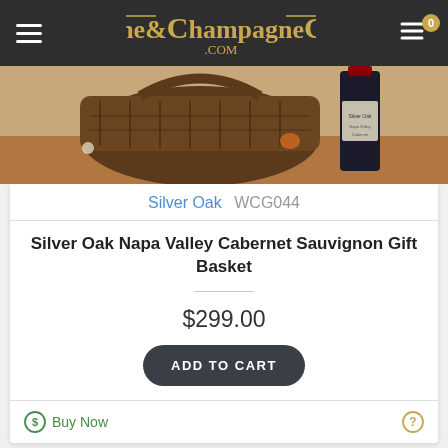Wine&ChampagneGifts.com
[Figure (photo): Product photo showing a wicker gift basket with a wine bottle on a wooden surface]
Silver Oak  WCG044
Silver Oak Napa Valley Cabernet Sauvignon Gift Basket
$299.00
ADD TO CART
Buy Now
K < 1 | 2 | 3 | 4 | 5 | 6 > >| Showing (6 Pages) FILTER PRODUCTS